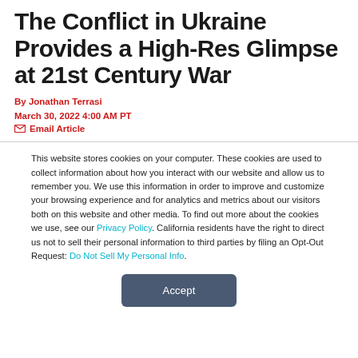The Conflict in Ukraine Provides a High-Res Glimpse at 21st Century War
By Jonathan Terrasi
March 30, 2022 4:00 AM PT
✉ Email Article
This website stores cookies on your computer. These cookies are used to collect information about how you interact with our website and allow us to remember you. We use this information in order to improve and customize your browsing experience and for analytics and metrics about our visitors both on this website and other media. To find out more about the cookies we use, see our Privacy Policy. California residents have the right to direct us not to sell their personal information to third parties by filing an Opt-Out Request: Do Not Sell My Personal Info.
Accept